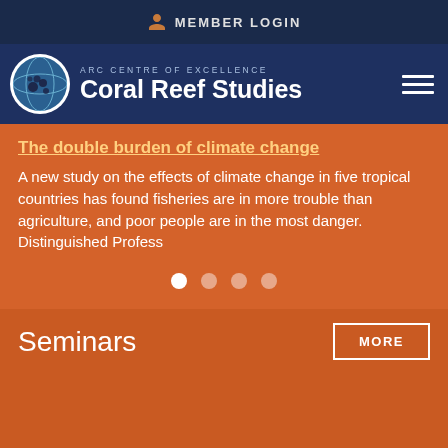MEMBER LOGIN
[Figure (logo): ARC Centre of Excellence Coral Reef Studies logo with globe icon and navigation bar]
The double burden of climate change
A new study on the effects of climate change in five tropical countries has found fisheries are in more trouble than agriculture, and poor people are in the most danger. Distinguished Profess
Seminars
MORE
18
Seascape connectivity, scale, and management